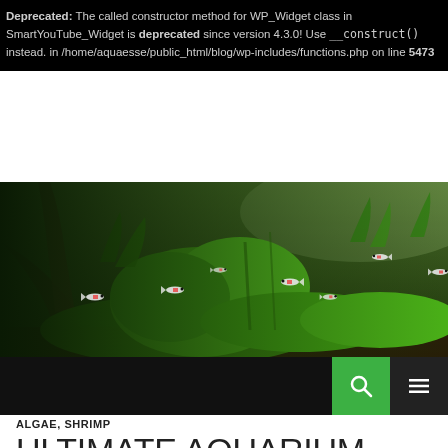Deprecated: The called constructor method for WP_Widget class in SmartYouTube_Widget is deprecated since version 4.3.0! Use __construct() instead. in /home/aquaesse/public_html/blog/wp-includes/functions.php on line 5473
[Figure (photo): Aquarium planted tank with green aquatic plants (moss, broad-leaf plants) and small red-and-white fish (likely Danios or Tetras) swimming in the tank. Driftwood visible on the left.]
ALGAE, SHRIMP
ULTIMATE AQUARIUM ALGAE EATERS